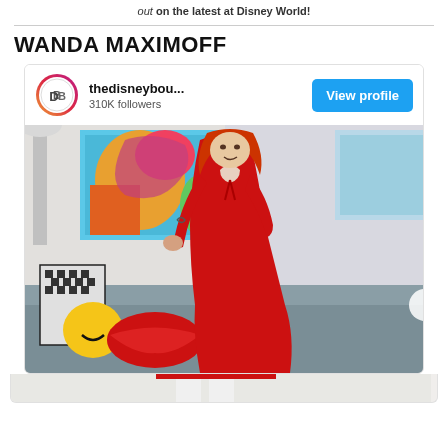out on the latest at Disney World!
WANDA MAXIMOFF
[Figure (screenshot): Instagram-style card showing account 'thedisneybou...' with 310K followers and a View profile button, followed by a photo of a woman with red hair wearing a red dress posing in a living room with pop-art on the wall]
[Figure (photo): Bottom portion of the woman in the red dress, showing her legs in white tights]